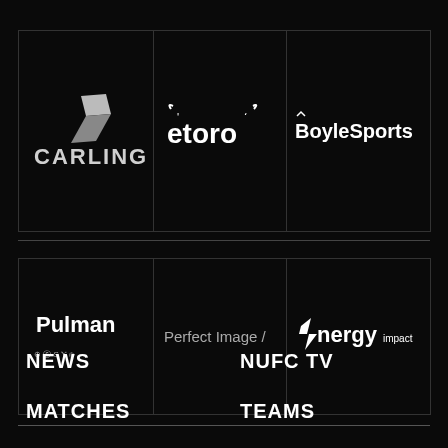[Figure (logo): Carling logo - white text on black background with angular graphic element]
[Figure (logo): eToro logo - white text with bull horns on black background]
[Figure (logo): BoyleSports logo - white text on black background]
[Figure (logo): Pulman logo with VW, Skoda, SEAT, CUPRA, VW Commercial vehicle brand icons]
[Figure (logo): Perfect Image / logo in grey text on black background]
[Figure (logo): e-nergy impact logo in white on black background]
NEWS
NUFC TV
MATCHES
TEAMS